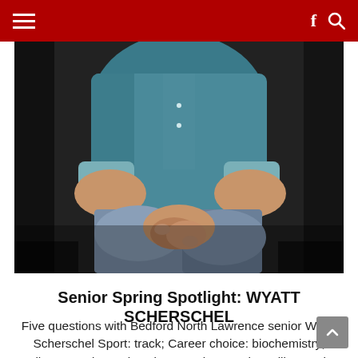Senior Spring Spotlight: WYATT SCHERSCHEL
[Figure (photo): A person in a teal/denim shirt and jeans sitting on dark furniture, hands clasped, torso and legs visible but head cropped out of frame.]
Senior Spring Spotlight: WYATT SCHERSCHEL
Five questions with Bedford North Lawrence senior Wyatt Scherschel Sport: track; Career choice: biochemistry; College: Purdue University Question 1: What will you miss most about